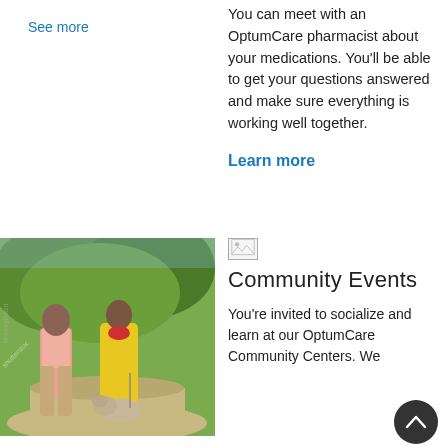See more
You can meet with an OptumCare pharmacist about your medications. You'll be able to get your questions answered and make sure everything is working well together.
Learn more
[Figure (photo): Older couple walking a bulldog on a park path, woman in yellow dress and red scarf, man in pink shirt, with green trees in background. Shutterstock watermark visible.]
[Figure (other): Small broken/loading image icon placeholder]
Community Events
You're invited to socialize and learn at our OptumCare Community Centers. We